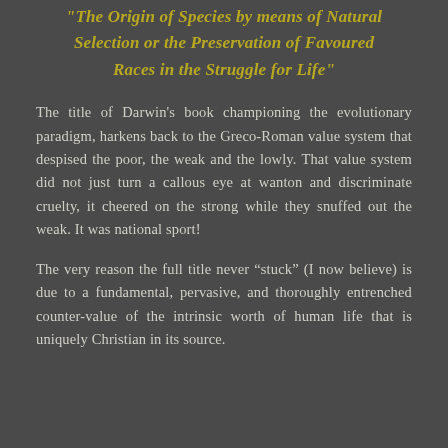"The Origin of Species by means of Natural Selection or the Preservation of Favoured Races in the Struggle for Life"
The title of Darwin's book championing the evolutionary paradigm, harkens back to the Greco-Roman value system that despised the poor, the weak and the lowly. That value system did not just turn a callous eye at wanton and discriminate cruelty, it cheered on the strong while they snuffed out the weak. It was national sport!
The very reason the full title never “stuck” (I now believe) is due to a fundamental, pervasive, and thoroughly entrenched counter-value of the intrinsic worth of human life that is uniquely Christian in its source.